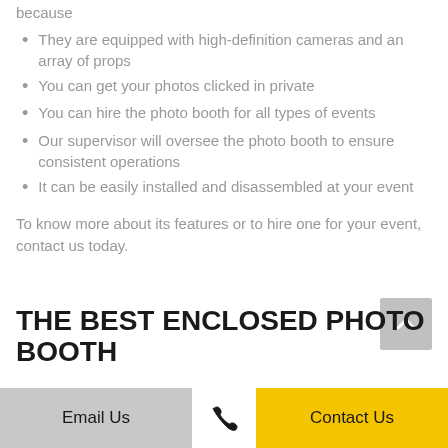because
They are equipped with high-definition cameras and an array of props
You can get your photos clicked in private
You can hire the photo booth for all types of events
Our supervisor will oversee the photo booth to ensure consistent operations
It can be easily installed and disassembled at your event
To know more about its features or to hire one for your event, contact us today.
THE BEST ENCLOSED PHOTO BOOTH
Email Us | Contact Us